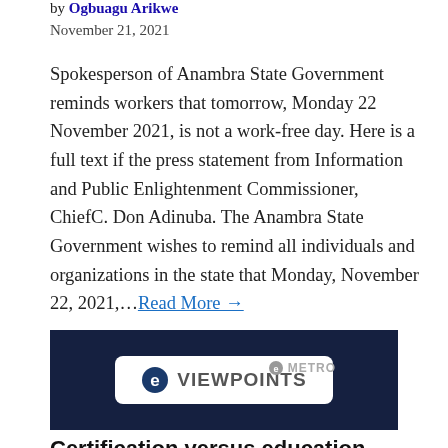by Ogbuagu Arikwe
November 21, 2021
Spokesperson of Anambra State Government reminds workers that tomorrow, Monday 22 November 2021, is not a work-free day. Here is a full text if the press statement from Information and Public Enlightenment Commissioner, ChiefC. Don Adinuba. The Anambra State Government wishes to remind all individuals and organizations in the state that Monday, November 22, 2021,…Read More →
[Figure (logo): eViewpoints logo — white rounded rectangle badge with 'e' icon and 'VIEWPOINTS' text on dark navy background, with eMetro logo in bottom right corner]
Certification versus education